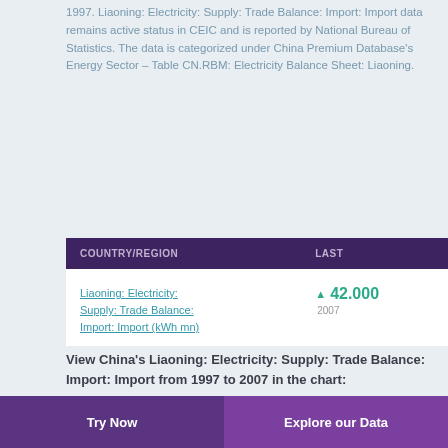1997. Liaoning: Electricity: Supply: Trade Balance: Import: Import data remains active status in CEIC and is reported by National Bureau of Statistics. The data is categorized under China Premium Database's Energy Sector – Table CN.RBM: Electricity Balance Sheet: Liaoning.
| COUNTRY/REGION | LAST |
| --- | --- |
| Liaoning: Electricity: Supply: Trade Balance: Import: Import (kWh mn) | ▲ 42.000
2007 |
View China's Liaoning: Electricity: Supply: Trade Balance: Import: Import from 1997 to 2007 in the chart:
There is no data available for your selected dates.
Try Now | Explore our Data